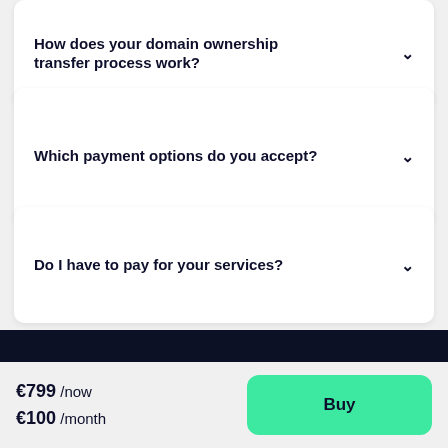How does your domain ownership transfer process work?
Which payment options do you accept?
Do I have to pay for your services?
€799 /now €100 /month
Buy